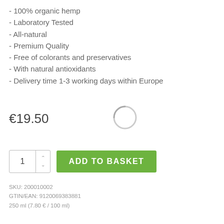- 100% organic hemp
- Laboratory Tested
- All-natural
- Premium Quality
- Free of colorants and preservatives
- With natural antioxidants
- Delivery time 1-3 working days within Europe
[Figure (other): Loading spinner circle icon]
€19.50
ADD TO BASKET
SKU: 200010002
GTIN/EAN: 9120069383881
250 ml (7.80 € / 100 ml)